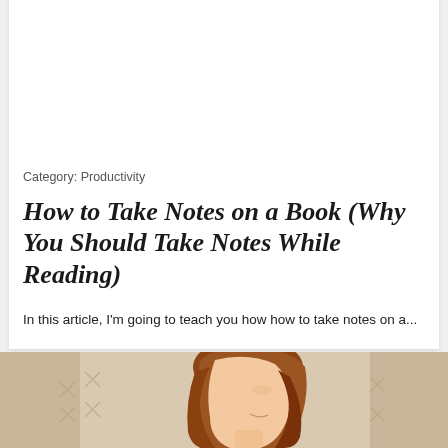Category: Productivity
How to Take Notes on a Book (Why You Should Take Notes While Reading)
In this article, I'm going to teach you how how to take notes on a...
[Figure (photo): Photo of a woman with auburn wavy hair in profile view, with a decorative background featuring X/cross patterns]